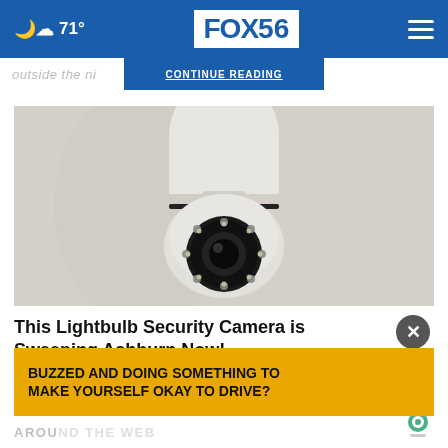71° FOX 56
outside the ni... through the
CONTINUE READING
[Figure (photo): A white lightbulb-shaped security camera with a rotating dome and LED ring, mounted on a white wall background.]
This Lightbulb Security Camera is Sweeping Ashburn Now!
Ad by Keilini
BUZZED AND DOING SOMETHING TO MAKE YOURSELF OKAY TO DRIVE?
AROUND THE WEB